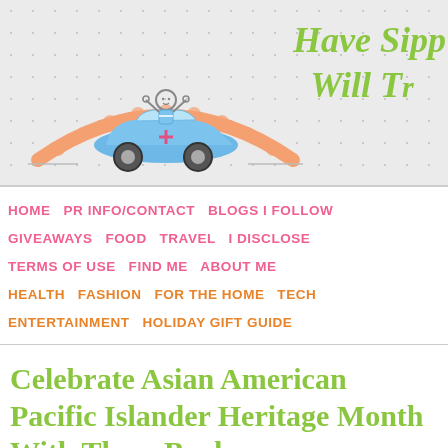[Figure (illustration): Blog header banner with polka dot background showing a cartoon child riding in a blue toy car over an orange arch/bridge. Text reads 'Have Sippy Will Travel' in green cursive font (partially cropped).]
HOME  PR INFO/CONTACT  BLOGS I FOLLOW  GIVEAWAYS  FOOD  TRAVEL  I DISCLOSE  TERMS OF USE  FIND ME  ABOUT ME  HEALTH  FASHION  FOR THE HOME  TECH  ENTERTAINMENT  HOLIDAY GIFT GUIDE
Celebrate Asian American Pacific Islander Heritage Month With These Books